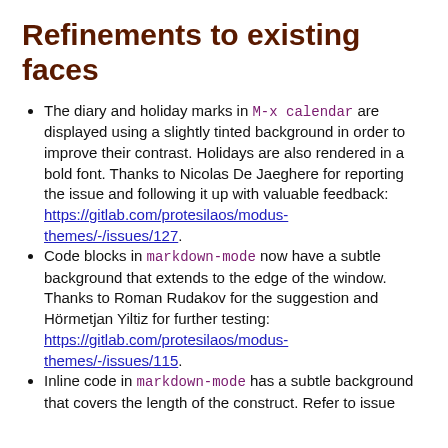Refinements to existing faces
The diary and holiday marks in M-x calendar are displayed using a slightly tinted background in order to improve their contrast. Holidays are also rendered in a bold font. Thanks to Nicolas De Jaeghere for reporting the issue and following it up with valuable feedback: https://gitlab.com/protesilaos/modus-themes/-/issues/127.
Code blocks in markdown-mode now have a subtle background that extends to the edge of the window. Thanks to Roman Rudakov for the suggestion and Hörmetjan Yiltiz for further testing: https://gitlab.com/protesilaos/modus-themes/-/issues/115.
Inline code in markdown-mode has a subtle background that covers the length of the construct. Refer to issue...